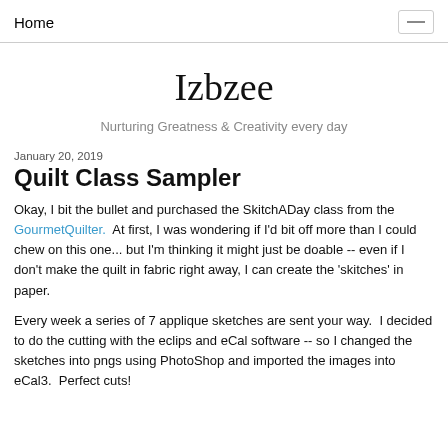Home
Izbzee
Nurturing Greatness & Creativity every day
January 20, 2019
Quilt Class Sampler
Okay, I bit the bullet and purchased the SkitchADay class from the GourmetQuilter.  At first, I was wondering if I'd bit off more than I could chew on this one... but I'm thinking it might just be doable -- even if I don't make the quilt in fabric right away, I can create the 'skitches' in paper.
Every week a series of 7 applique sketches are sent your way.  I decided to do the cutting with the eclips and eCal software -- so I changed the sketches into pngs using PhotoShop and imported the images into eCal3.  Perfect cuts!